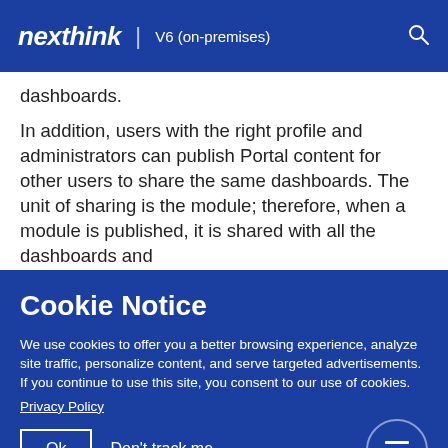nexthink | V6 (on-premises)
dashboards.
In addition, users with the right profile and administrators can publish Portal content for other users to share the same dashboards. The unit of sharing is the module; therefore, when a module is published, it is shared with all the dashboards and
Cookie Notice
We use cookies to offer you a better browsing experience, analyze site traffic, personalize content, and serve targeted advertisements. If you continue to use this site, you consent to our use of cookies.
Privacy Policy
Ok  Don't track me